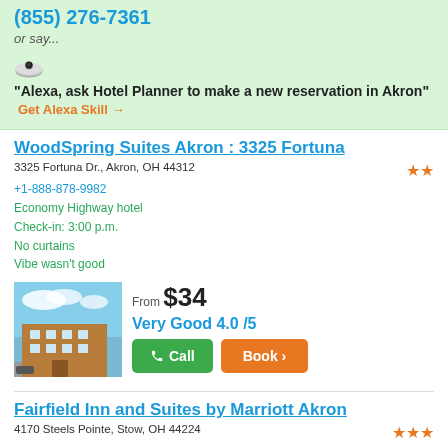(855) 276-7361
or say...
"Alexa, ask Hotel Planner to make a new reservation in Akron" Get Alexa Skill →
WoodSpring Suites Akron : 3325 Fortuna
3325 Fortuna Dr., Akron, OH 44312
+1-888-878-9982
Economy Highway hotel
Check-in: 3:00 p.m.
No curtains
Vibe wasn't good
[Figure (photo): Exterior photo of WoodSpring Suites Akron hotel building]
From $34
Very Good 4.0 /5
Fairfield Inn and Suites by Marriott Akron
4170 Steels Pointe, Stow, OH 44224